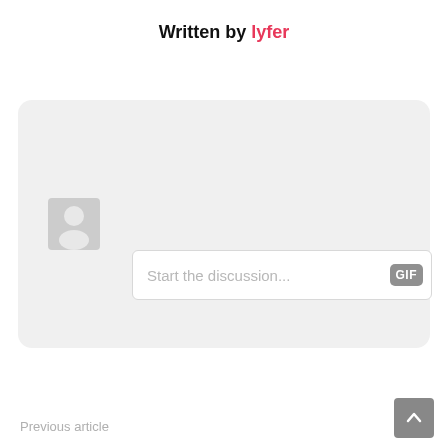Written by lyfer
[Figure (screenshot): Comment section UI with avatar placeholder and text input field showing 'Start the discussion...' placeholder text with a GIF button]
Previous article